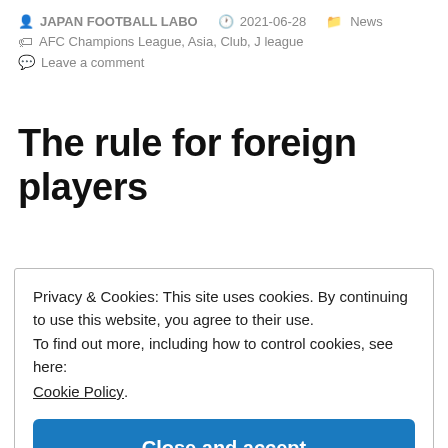JAPAN FOOTBALL LABO  2021-06-28  News  AFC Champions League, Asia, Club, J league  Leave a comment
The rule for foreign players
Privacy & Cookies: This site uses cookies. By continuing to use this website, you agree to their use.
To find out more, including how to control cookies, see here:
Cookie Policy
Close and accept
[Figure (photo): Colorful paint splash image partially visible at the bottom of the page]